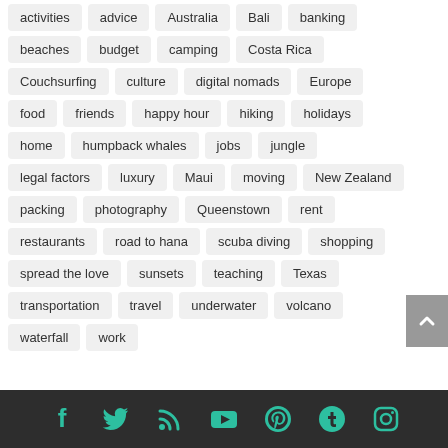activities
advice
Australia
Bali
banking
beaches
budget
camping
Costa Rica
Couchsurfing
culture
digital nomads
Europe
food
friends
happy hour
hiking
holidays
home
humpback whales
jobs
jungle
legal factors
luxury
Maui
moving
New Zealand
packing
photography
Queenstown
rent
restaurants
road to hana
scuba diving
shopping
spread the love
sunsets
teaching
Texas
transportation
travel
underwater
volcano
waterfall
work
Social media icons: Facebook, Twitter, RSS, YouTube, Pinterest, Tumblr, Instagram